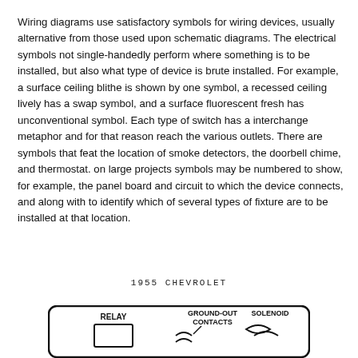Wiring diagrams use satisfactory symbols for wiring devices, usually alternative from those used upon schematic diagrams. The electrical symbols not single-handedly perform where something is to be installed, but also what type of device is brute installed. For example, a surface ceiling blithe is shown by one symbol, a recessed ceiling lively has a swap symbol, and a surface fluorescent fresh has unconventional symbol. Each type of switch has a interchange metaphor and for that reason reach the various outlets. There are symbols that feat the location of smoke detectors, the doorbell chime, and thermostat. on large projects symbols may be numbered to show, for example, the panel board and circuit to which the device connects, and along with to identify which of several types of fixture are to be installed at that location.
1955 CHEVROLET
[Figure (schematic): Partial wiring diagram for 1955 Chevrolet showing RELAY, GROUND-OUT CONTACTS, and SOLENOID labels with connecting symbols at bottom of page]